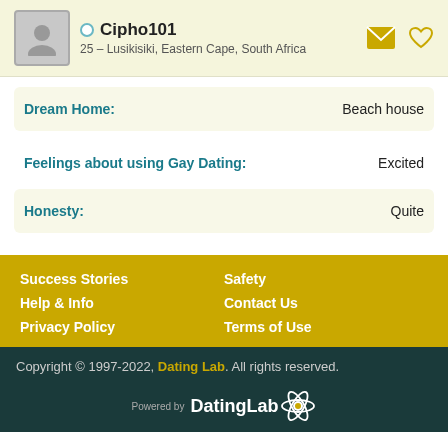Cipho101 – 25 – Lusikisiki, Eastern Cape, South Africa
Dream Home: Beach house
Feelings about using Gay Dating: Excited
Honesty: Quite
Success Stories
Safety
Help & Info
Contact Us
Privacy Policy
Terms of Use
Copyright © 1997-2022, Dating Lab. All rights reserved. Powered by DatingLab